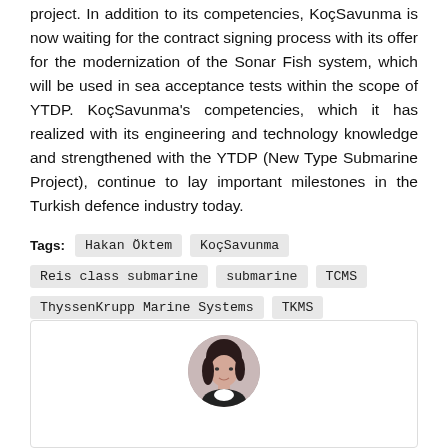project. In addition to its competencies, KoçSavunma is now waiting for the contract signing process with its offer for the modernization of the Sonar Fish system, which will be used in sea acceptance tests within the scope of YTDP. KoçSavunma's competencies, which it has realized with its engineering and technology knowledge and strengthened with the YTDP (New Type Submarine Project), continue to lay important milestones in the Turkish defence industry today.
Tags: Hakan Öktem  KoçSavunma  Reis class submarine  submarine  TCMS  ThyssenKrupp Marine Systems  TKMS  Torpedo Countermeasure System  Turkey
[Figure (photo): Author profile photo: circular headshot of a woman with dark hair]